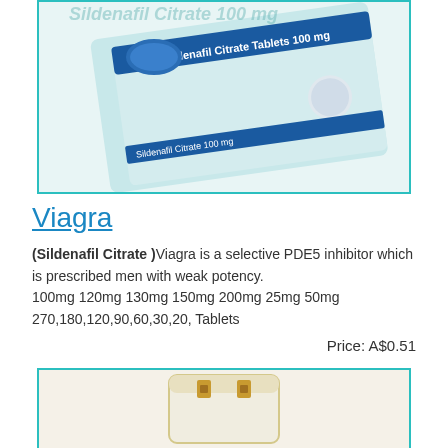[Figure (photo): Sildenafil Citrate Tablets 100mg blister pack product photo with blue and white packaging, showing pills and blister strip]
Viagra
(Sildenafil Citrate )Viagra is a selective PDE5 inhibitor which is prescribed men with weak potency.
100mg 120mg 130mg 150mg 200mg 25mg 50mg
270,180,120,90,60,30,20, Tablets
Price: A$0.51
[Figure (photo): Cream jar product photo, white lid with gold/orange accents, partially visible]